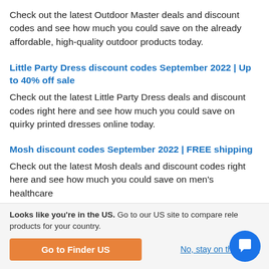Check out the latest Outdoor Master deals and discount codes and see how much you could save on the already affordable, high-quality outdoor products today.
Little Party Dress discount codes September 2022 | Up to 40% off sale
Check out the latest Little Party Dress deals and discount codes right here and see how much you could save on quirky printed dresses online today.
Mosh discount codes September 2022 | FREE shipping
Check out the latest Mosh deals and discount codes right here and see how much you could save on men's healthcare
Looks like you're in the US. Go to our US site to compare rele products for your country.
Go to Finder US
No, stay on this page